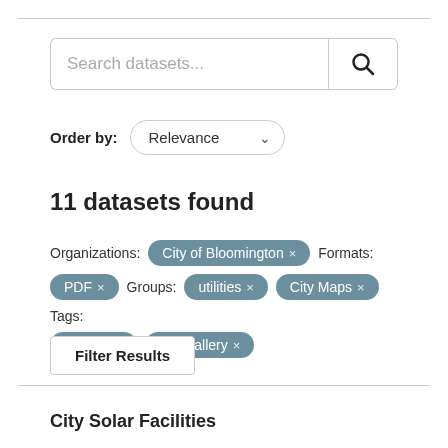Search datasets...
Order by: Relevance
11 datasets found
Organizations: City of Bloomington ×  Formats: PDF ×  Groups: utilities ×  City Maps ×  Tags: facilites ×  mapgallery ×
Filter Results
City Solar Facilities